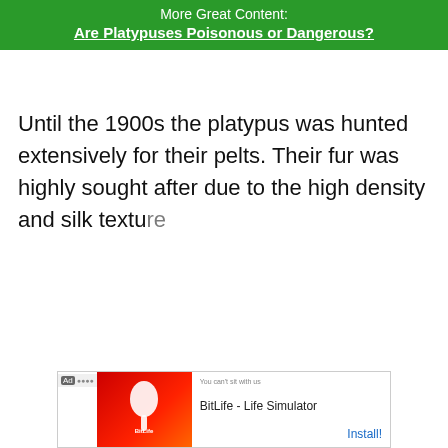More Great Content:
Are Platypuses Poisonous or Dangerous?
Until the 1900s the platypus was hunted extensively for their pelts. Their fur was highly sought after due to the high density and silk texture
[Figure (screenshot): Mobile advertisement banner for BitLife - Life Simulator app with red background and install button]